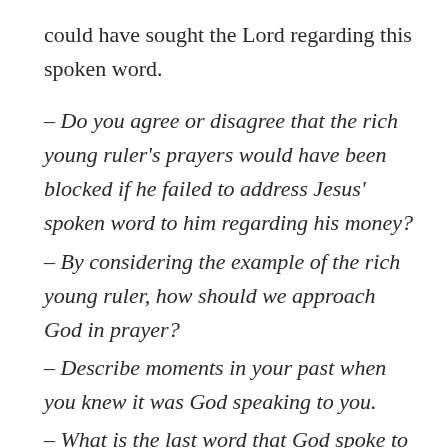could have sought the Lord regarding this spoken word.
– Do you agree or disagree that the rich young ruler's prayers would have been blocked if he failed to address Jesus' spoken word to him regarding his money?
– By considering the example of the rich young ruler, how should we approach God in prayer?
– Describe moments in your past when you knew it was God speaking to you.
– What is the last word that God spoke to you?